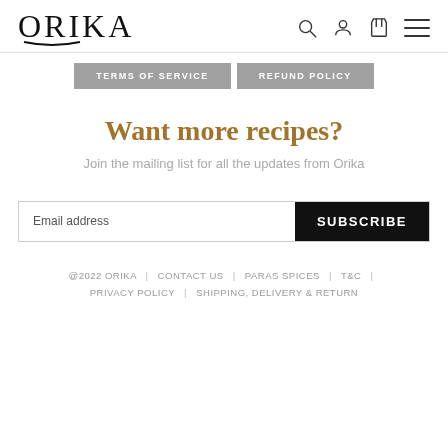[Figure (logo): ORIKA brand logo in large serif letters with a curved underline beneath the O]
TERMS OF SERVICE | REFUND POLICY
Want more recipes?
Join the mailing list for all the updates from Orika
Email address | SUBSCRIBE
@2022 ORIKA | CONTACT US | PARAS SPICES | T&C | PRIVACY POLICY | SHIPPING, DELIVERY & RETURN